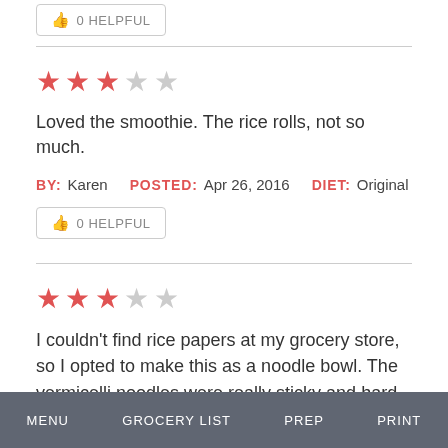[Figure (other): Thumbs up icon with '0 HELPFUL' button at top of page (partially cropped)]
★★★☆☆ (3 out of 5 stars)
Loved the smoothie. The rice rolls, not so much.
BY: Karen  POSTED: Apr 26, 2016  DIET: Original
[Figure (other): Thumbs up icon with '0 HELPFUL' button]
★★★☆☆ (3 out of 5 stars)
I couldn't find rice papers at my grocery store, so I opted to make this as a noodle bowl. The vermicelli noodles were really sticky and hard to eat - did I over-cook them? Other
MENU   GROCERY LIST   PREP   PRINT